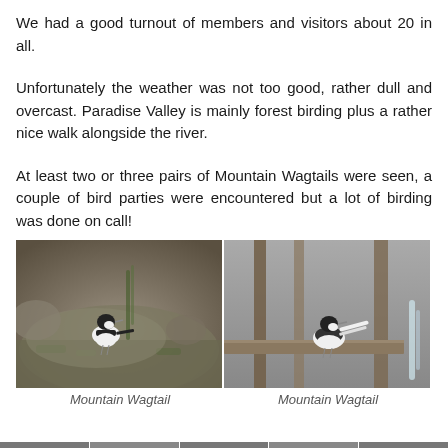We had a good turnout of members and visitors about 20 in all.
Unfortunately the weather was not too good, rather dull and overcast. Paradise Valley is mainly forest birding plus a rather nice walk alongside the river.
At least two or three pairs of Mountain Wagtails were seen, a couple of bird parties were encountered but a lot of birding was done on call!
[Figure (photo): Two side-by-side photographs of Mountain Wagtail birds. Left photo shows a Mountain Wagtail perched on a mossy rock. Right photo shows a Mountain Wagtail perched on a wooden ledge or fence.]
Mountain Wagtail        Mountain Wagtail